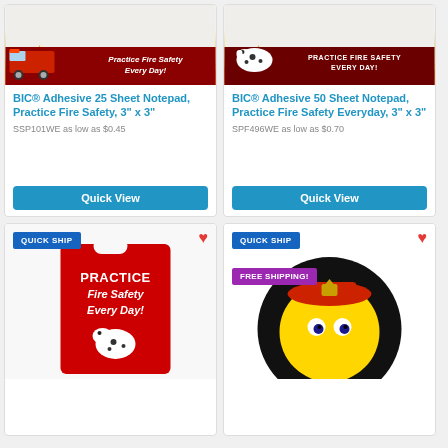[Figure (photo): BIC Adhesive 25 Sheet Notepad with fire truck and flames, Practice Fire Safety Every Day text on dark red banner]
BIC® Adhesive 25 Sheet Notepad, Practice Fire Safety, 3" x 3"
SSP101WE as low as $0.45
Quick View
[Figure (photo): BIC Adhesive 50 Sheet Notepad with dalmatian dog and flames, Practice Fire Safety Every Day text on dark red banner]
BIC® Adhesive 50 Sheet Notepad, Practice Fire Safety Everyday, 3" x 3"
SPF496WE as low as $0.70
Quick View
[Figure (photo): Red plastic bag with Practice Fire Safety Every Day text and dalmatian mascot illustration]
[Figure (photo): Round sticker with emoji firefighter character, Practice Fire Safety text around border, black background]